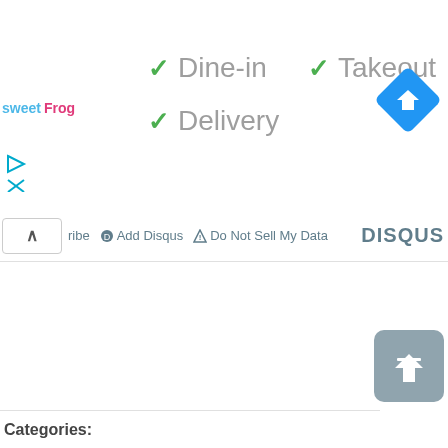[Figure (logo): sweetFrog logo in teal and pink]
✓ Dine-in
✓ Takeout
✓ Delivery
[Figure (logo): Blue diamond navigation/directions icon with right-turn arrow]
[Figure (infographic): Disqus toolbar with collapse button, Subscribe, Add Disqus, Do Not Sell My Data links, and DISQUS branding]
Categories: